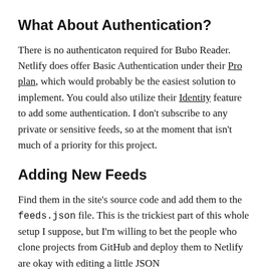What About Authentication?
There is no authenticaton required for Bubo Reader. Netlify does offer Basic Authentication under their Pro plan, which would probably be the easiest solution to implement. You could also utilize their Identity feature to add some authentication. I don't subscribe to any private or sensitive feeds, so at the moment that isn't much of a priority for this project.
Adding New Feeds
Find them in the site's source code and add them to the feeds.json file. This is the trickiest part of this whole setup I suppose, but I'm willing to bet the people who clone projects from GitHub and deploy them to Netlify are okay with editing a little JSON